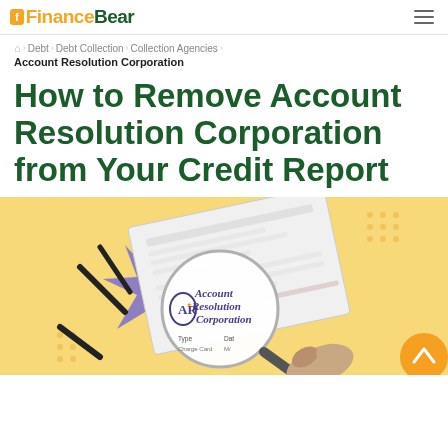FinanceBear
🏠 > Debt > Debt Collection > Collection Agencies > Account Resolution Corporation
How to Remove Account Resolution Corporation from Your Credit Report
[Figure (illustration): Hero image with yellow/gold background showing a magnifying glass over Account Resolution Corporation logo and a credit report document with purple star-burst decorative elements and a hand holding the magnifying glass.]